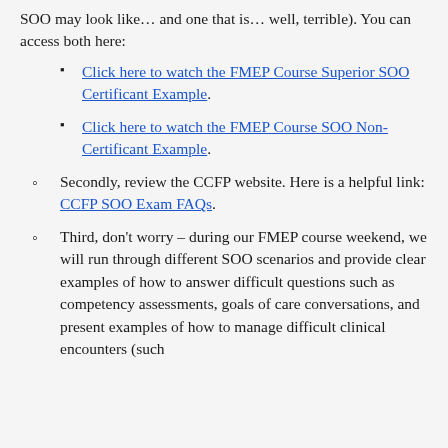SOO may look like… and one that is… well, terrible). You can access both here:
Click here to watch the FMEP Course Superior SOO Certificant Example.
Click here to watch the FMEP Course SOO Non-Certificant Example.
Secondly, review the CCFP website. Here is a helpful link: CCFP SOO Exam FAQs.
Third, don't worry – during our FMEP course weekend, we will run through different SOO scenarios and provide clear examples of how to answer difficult questions such as competency assessments, goals of care conversations, and present examples of how to manage difficult clinical encounters (such